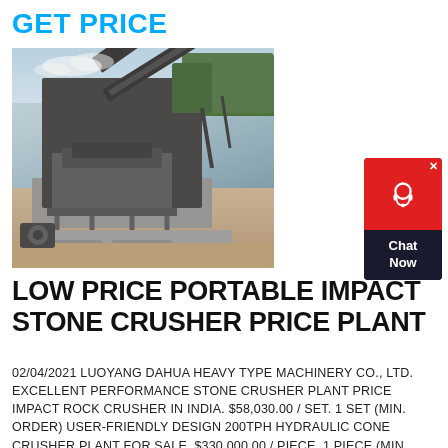GET PRICE
[Figure (photo): Outdoor stone crusher / rock crushing plant with conveyor belt structure, concrete base, and green trees in background]
[Figure (other): Chat Now widget with red background, headset icon, and dark bottom panel]
LOW PRICE PORTABLE IMPACT STONE CRUSHER PRICE PLANT
02/04/2021 LUOYANG DAHUA HEAVY TYPE MACHINERY CO., LTD. EXCELLENT PERFORMANCE STONE CRUSHER PLANT PRICE IMPACT ROCK CRUSHER IN INDIA. $58,030.00 / SET. 1 SET (MIN. ORDER) USER-FRIENDLY DESIGN 200TPH HYDRAULIC CONE CRUSHER PLANT FOR SALE. $330,000.00 / PIECE. 1 PIECE (MIN. ORDER) LARGE PRODUCTION CAPACITY HYDRAULIC CONE CRUSHER